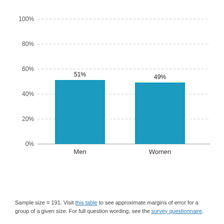[Figure (bar-chart): ]
Sample size = 191. Visit this table to see approximate margins of error for a group of a given size. For full question wording, see the survey questionnaire.